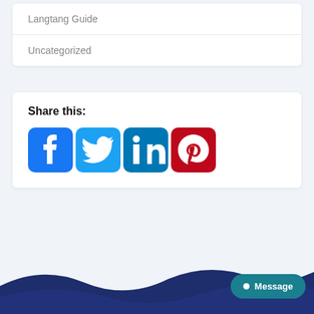Langtang Guide
Uncategorized
Share this:
[Figure (infographic): Social media share icons: Facebook, Twitter, LinkedIn, Pinterest]
[Figure (illustration): Dark navy blue wave shape at bottom of page forming a footer background]
Message